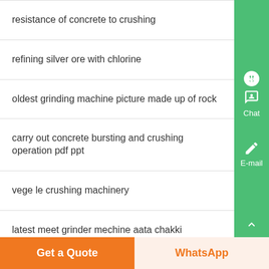resistance of concrete to crushing
refining silver ore with chlorine
oldest grinding machine picture made up of rock
carry out concrete bursting and crushing operation pdf ppt
vege le crushing machinery
latest meet grinder mechine aata chakki
pression mechanism in jaw crusher